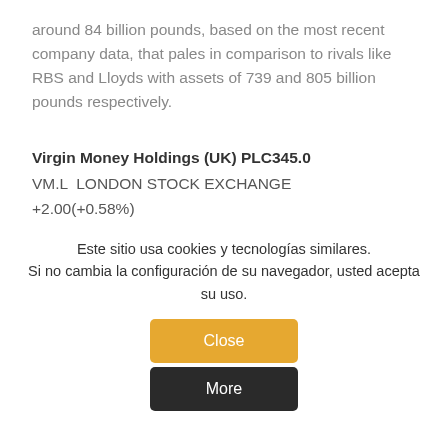around 84 billion pounds, based on the most recent company data, that pales in comparison to rivals like RBS and Lloyds with assets of 739 and 805 billion pounds respectively.
Virgin Money Holdings (UK) PLC345.0
VM.LLONDON STOCK EXCHANGE
+2.00(+0.58%)
Este sitio usa cookies y tecnologías similares. Si no cambia la configuración de su navegador, usted acepta su uso.